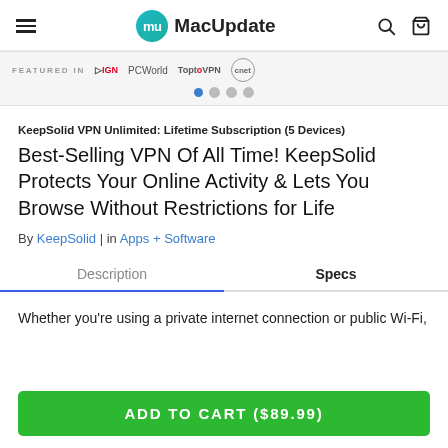MacUpdate
[Figure (screenshot): Featured in banner showing IGN, PCWorld, TopVPN, and CNET logos with carousel dots]
KeepSolid VPN Unlimited: Lifetime Subscription (5 Devices)
Best-Selling VPN Of All Time! KeepSolid Protects Your Online Activity & Lets You Browse Without Restrictions for Life
By KeepSolid | in Apps + Software
Description | Specs (tabs)
Whether you're using a private internet connection or public Wi-Fi,
ADD TO CART ($89.99)